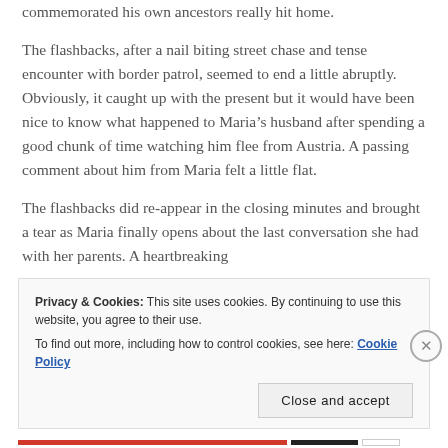commemorated his own ancestors really hit home.
The flashbacks, after a nail biting street chase and tense encounter with border patrol, seemed to end a little abruptly. Obviously, it caught up with the present but it would have been nice to know what happened to Maria’s husband after spending a good chunk of time watching him flee from Austria. A passing comment about him from Maria felt a little flat.
The flashbacks did re-appear in the closing minutes and brought a tear as Maria finally opens about the last conversation she had with her parents. A heartbreaking
Privacy & Cookies: This site uses cookies. By continuing to use this website, you agree to their use.
To find out more, including how to control cookies, see here: Cookie Policy
Close and accept